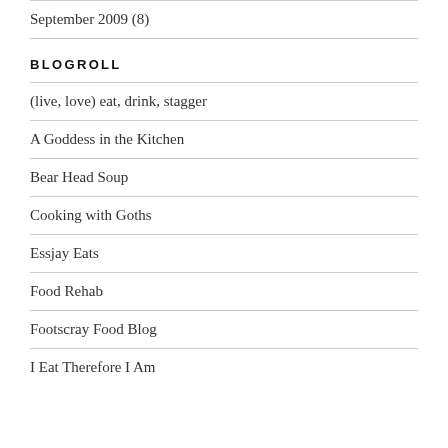September 2009 (8)
BLOGROLL
(live, love) eat, drink, stagger
A Goddess in the Kitchen
Bear Head Soup
Cooking with Goths
Essjay Eats
Food Rehab
Footscray Food Blog
I Eat Therefore I Am